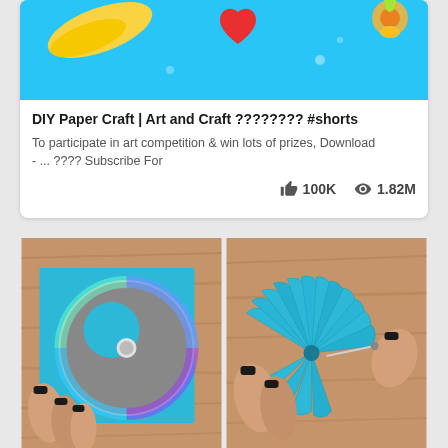[Figure (screenshot): YouTube video thumbnail showing colorful cartoon/craft art with cyan background, banana shape, red heart, and decorative elements]
DIY Paper Craft | Art and Craft ???????? #shorts
To participate in art competition & win lots of prizes, Download - ... ???? Subscribe For
100K  1.82M
[Figure (photo): Left photo: hands with black nail polish placing a blue paper circle onto a CD on a wooden surface]
[Figure (photo): Right photo: hands with black nail polish assembling blue paper fan/flower craft with a needle/pin on wooden surface]